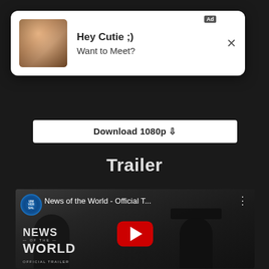[Figure (screenshot): Advertisement popup with image of person, text 'Hey Cutie ;) Want to Meet?', Ad label and X close button]
Download 1080p ↓
Trailer
[Figure (screenshot): YouTube video embed showing 'News of the World - Official T...' with Universal Pictures logo, YouTube play button overlay, and movie title text 'NEWS OF THE WORLD OFFICIAL TRAILER' with two silhouetted figures]